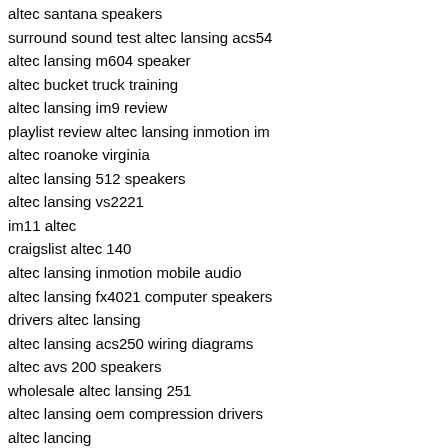altec santana speakers
surround sound test altec lansing acs54
altec lansing m604 speaker
altec bucket truck training
altec lansing im9 review
playlist review altec lansing inmotion im
altec roanoke virginia
altec lansing 512 speakers
altec lansing vs2221
im11 altec
craigslist altec 140
altec lansing inmotion mobile audio
altec lansing fx4021 computer speakers
drivers altec lansing
altec lansing acs250 wiring diagrams
altec avs 200 speakers
wholesale altec lansing 251
altec lansing oem compression drivers
altec lancing
altec fx5051 5.1
altec lansing power speaker
altec 808 driver
altec lansing ada885
altec lansing 251
altec lansing in motion im500
altec schematics
altec cherry picker
altec lansing part number 21522
altec lansing im600 speaker